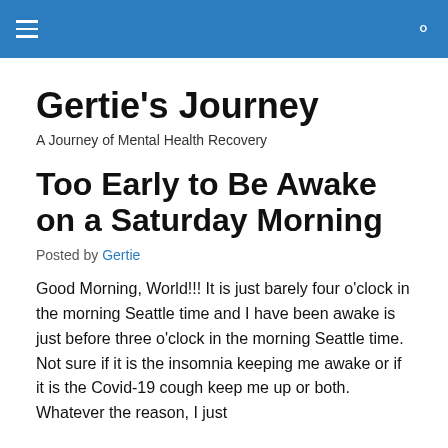≡  🔍
Gertie's Journey
A Journey of Mental Health Recovery
Too Early to Be Awake on a Saturday Morning
Posted by Gertie
Good Morning, World!!! It is just barely four o'clock in the morning Seattle time and I have been awake is just before three o'clock in the morning Seattle time. Not sure if it is the insomnia keeping me awake or if it is the Covid-19 cough keep me up or both. Whatever the reason, I just